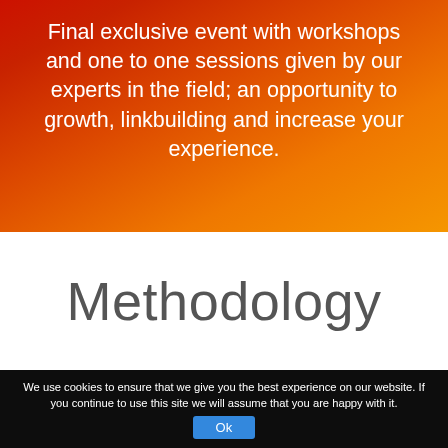Final exclusive event with workshops and one to one sessions given by our experts in the field; an opportunity to growth, linkbuilding and increase your experience.
Methodology
We use cookies to ensure that we give you the best experience on our website. If you continue to use this site we will assume that you are happy with it.